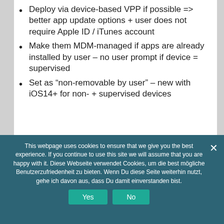Deploy via device-based VPP if possible => better app update options + user does not require Apple ID / iTunes account
Make them MDM-managed if apps are already installed by user – no user prompt if device = supervised
Set as “non-removable by user” – new with iOS14+ for non- + supervised devices
This webpage uses cookies to ensure that we give you the best experience. If you continue to use this site we will assume that you are happy with it. Diese Webseite verwendet Cookies, um die best mögliche Benutzerzufriedenheit zu bieten. Wenn Du diese Seite weiterhin nutzt, gehe ich davon aus, dass Du damit einverstanden bist.